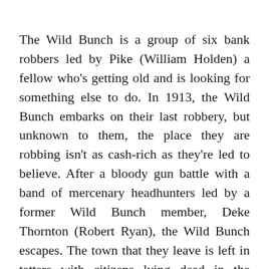The Wild Bunch is a group of six bank robbers led by Pike (William Holden) a fellow who's getting old and is looking for something else to do. In 1913, the Wild Bunch embarks on their last robbery, but unknown to them, the place they are robbing isn't as cash-rich as they're led to believe. After a bloody gun battle with a band of mercenary headhunters led by a former Wild Bunch member, Deke Thornton (Robert Ryan), the Wild Bunch escapes. The town that they leave is left in tatters with citizens lying dead in the streets.
The film follows Pike and his band of robbers as they try to find one more robbery to do before retiring. The band of robbers finally sign up to help a Mexican general steal weapons from a US Military train. Not far behind them is Thornton. Thornton's main drive to catch Pike is that if he doesn't do it...